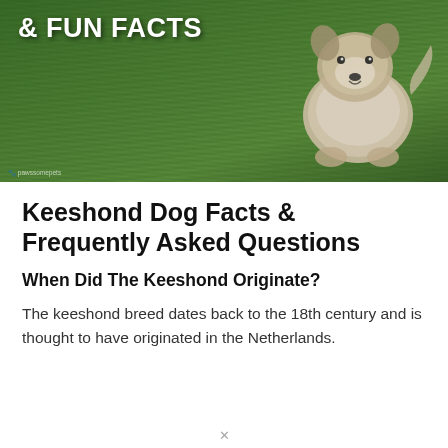[Figure (photo): A fluffy Keeshond dog sitting on green grass, photographed from slightly above. The dog has grey and white fur. Behind the dog is text reading '& FUN FACTS' in bold white letters. A small watermark is visible at the bottom left of the image.]
Keeshond Dog Facts & Frequently Asked Questions
When Did The Keeshond Originate?
The keeshond breed dates back to the 18th century and is thought to have originated in the Netherlands.